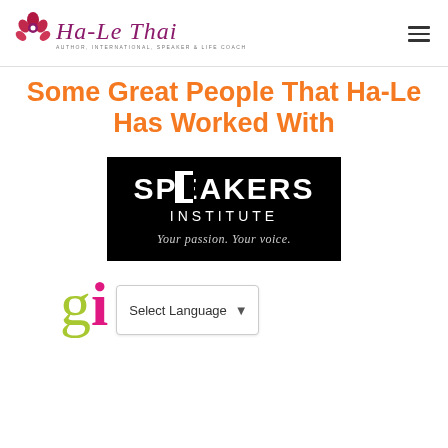[Figure (logo): Ha-Le Thai logo with decorative script text and subtitle: AUTHOR, INTERNATIONAL SPEAKER & LIFE COACH]
Some Great People That Ha-Le Has Worked With
[Figure (logo): Speakers Institute logo on black background with tagline: Your passion. Your voice.]
[Figure (logo): Partial logo showing green 'g' and pink letter, with Select Language dropdown overlay]